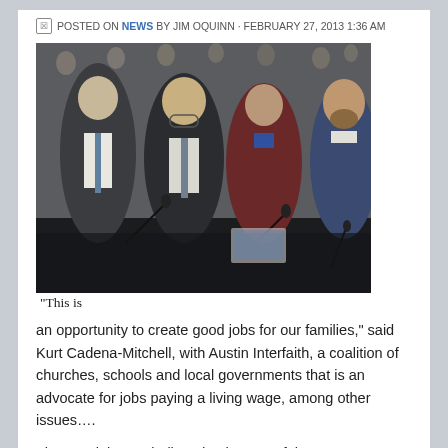POSTED ON NEWS BY JIM OQUINN - FEBRUARY 27, 2013 1:36 AM
[Figure (photo): Four people seated at a table at a public meeting or hearing. Two men in suits on the left, a woman in a dark red jacket in the middle, and a bearded man in a blue sweater on the right. Audience visible in background.]
“This is an opportunity to create good jobs for our families,” said Kurt Cadena-Mitchell, with Austin Interfaith, a coalition of churches, schools and local governments that is an advocate for jobs paying a living wage, among other issues….
The new jobs are believed to be part of the company’s plans to hire more technical workers and engineers to support its expanding business. The average annual wage for the new jobs is $65,000, and the lowest-paid